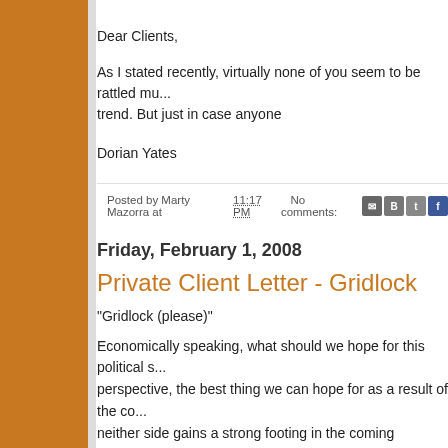Dear Clients,
As I stated recently, virtually none of you seem to be rattled mu... trend. But just in case anyone
Dorian Yates
Posted by Marty Mazorra at 11:17 PM   No comments:
Friday, February 1, 2008
Private Client Letter - Gridlock
"Gridlock (please)"
Economically speaking, what should we hope for this political s... perspective, the best thing we can hope for as a result of the co... neither side gains a strong footing in the coming election. You m... that statement and I guess when it comes to politics I can get a... in this instance I simply believe that a scenario where no single... power is a good thing, at least for the economy. As you've hear... economy is cyclical. Periods of expansion, where everyone's sr...